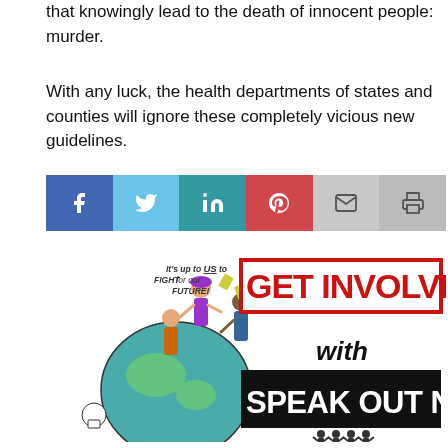that knowingly lead to the death of innocent people: murder.
With any luck, the health departments of states and counties will ignore these completely vicious new guidelines.
[Figure (infographic): Social sharing bar with icons for Facebook, Twitter, LinkedIn, Pinterest, email, and print]
[Figure (infographic): Speak Out Now promotional graphic with cartoon illustration and text: 'It's up to US to FIGHT for our FUTURE! GET INVOLVED with SPEAK OUT NOW']